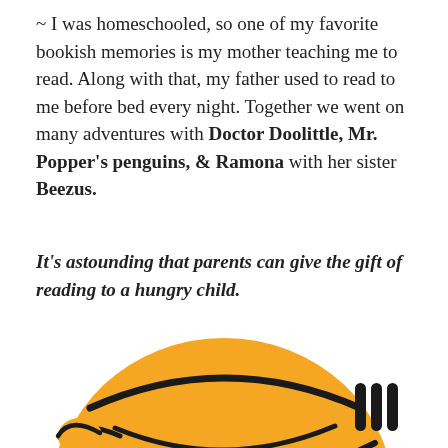~ I was homeschooled, so one of my favorite bookish memories is my mother teaching me to read. Along with that, my father used to read to me before bed every night. Together we went on many adventures with Doctor Doolittle, Mr. Popper's penguins, & Ramona with her sister Beezus.
It's astounding that parents can give the gift of reading to a hungry child.
[Figure (illustration): Partial view of an orange illustrated character or logo with black outlines, appearing at the bottom of the page — likely a cartoon owl or similar mascot.]